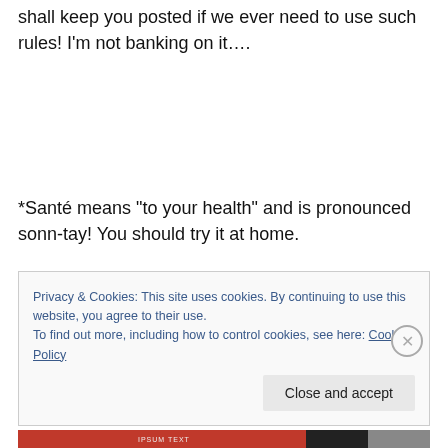shall keep you posted if we ever need to use such rules! I'm not banking on it….
*Santé means “to your health” and is pronounced sonn-tay! You should try it at home.
Privacy & Cookies: This site uses cookies. By continuing to use this website, you agree to their use.
To find out more, including how to control cookies, see here: Cookie Policy